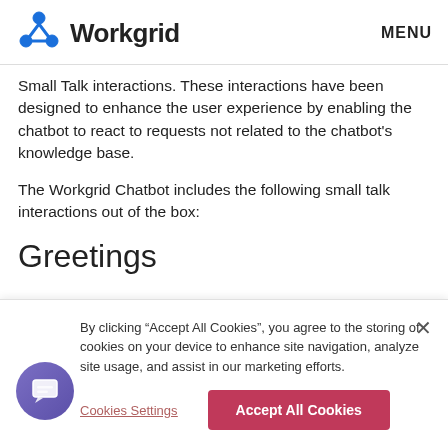Workgrid | MENU
Small Talk interactions. These interactions have been designed to enhance the user experience by enabling the chatbot to react to requests not related to the chatbot's knowledge base.
The Workgrid Chatbot includes the following small talk interactions out of the box:
Greetings
By clicking “Accept All Cookies”, you agree to the storing of cookies on your device to enhance site navigation, analyze site usage, and assist in our marketing efforts.
Cookies Settings | Accept All Cookies